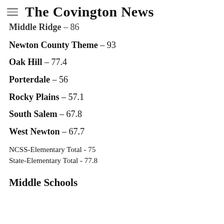The Covington News
Middle Ridge - 86
Newton County Theme - 93
Oak Hill - 77.4
Porterdale - 56
Rocky Plains - 57.1
South Salem - 67.8
West Newton - 67.7
NCSS-Elementary Total - 75
State-Elementary Total - 77.8
Middle Schools